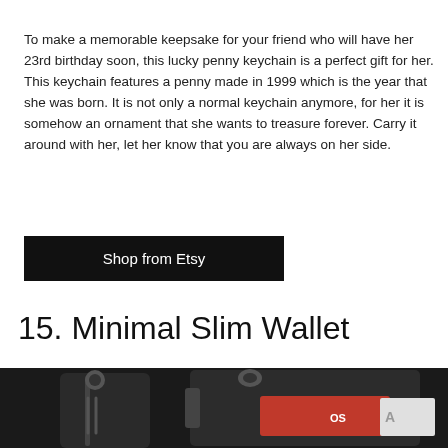To make a memorable keepsake for your friend who will have her 23rd birthday soon, this lucky penny keychain is a perfect gift for her.
This keychain features a penny made in 1999 which is the year that she was born. It is not only a normal keychain anymore, for her it is somehow an ornament that she wants to treasure forever. Carry it around with her, let her know that you are always on her side.
[Figure (other): Black button/link: Shop from Etsy]
15. Minimal Slim Wallet
[Figure (photo): Photo of a minimal slim black leather wallet showing zipper and red card peeking out]